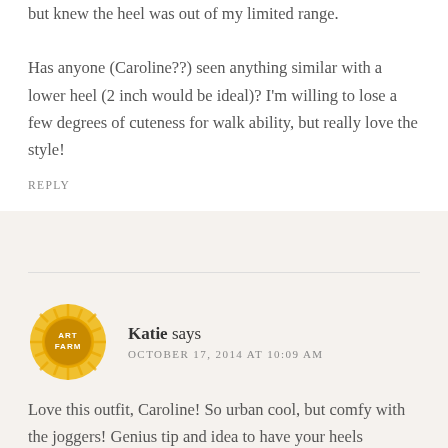but knew the heel was out of my limited range.

Has anyone (Caroline??) seen anything similar with a lower heel (2 inch would be ideal)? I'm willing to lose a few degrees of cuteness for walk ability, but really love the style!
REPLY
Katie says
OCTOBER 17, 2014 AT 10:09 AM
Love this outfit, Caroline! So urban cool, but comfy with the joggers! Genius tip and idea to have your heels shortened. 4inches are impossible for me. 3 inches can even push it a little too far. Excited to